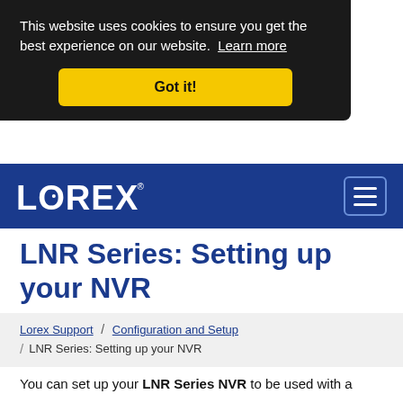This website uses cookies to ensure you get the best experience on our website. Learn more
Got it!
[Figure (logo): Lorex logo on blue navigation bar with hamburger menu icon]
LNR Series: Setting up your NVR
Lorex Support / Configuration and Setup / LNR Series: Setting up your NVR
You can set up your LNR Series NVR to be used with a